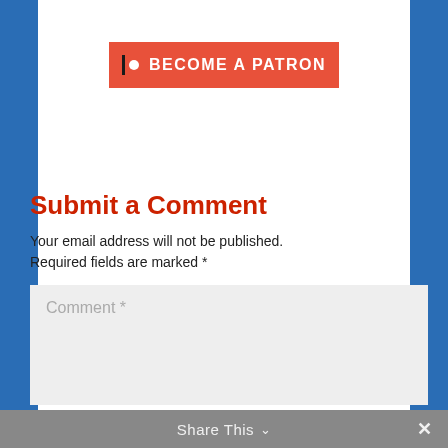[Figure (logo): Patreon 'Become a Patron' button with orange/red background, white circle-dot and vertical bar icon, bold white uppercase text]
Submit a Comment
Your email address will not be published. Required fields are marked *
Comment *
Share This ∨  ×